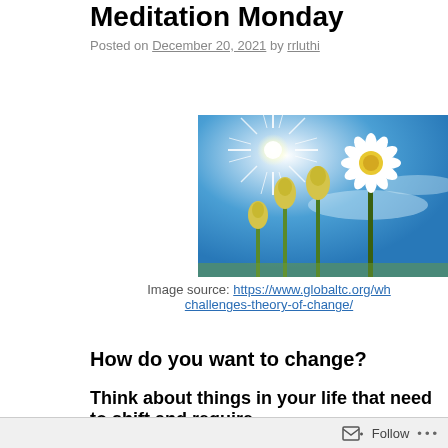Meditation Monday
Posted on December 20, 2021 by rrluthi
[Figure (photo): Photo of four flowers (daisies/buds) in progressive stages of growth against a bright blue sky with a sun burst in the background]
Image source: https://www.globaltc.org/wh challenges-theory-of-change/
How do you want to change?
Think about things in your life that need to shift and require
Make a list in your journal of the changes you would like to
Follow ...